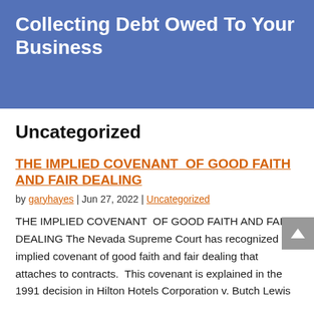Collecting Debt Owed To Your Business
Uncategorized
THE IMPLIED COVENANT  OF GOOD FAITH AND FAIR DEALING
by garyhayes | Jun 27, 2022 | Uncategorized
THE IMPLIED COVENANT  OF GOOD FAITH AND FAIR DEALING The Nevada Supreme Court has recognized the implied covenant of good faith and fair dealing that attaches to contracts.  This covenant is explained in the 1991 decision in Hilton Hotels Corporation v. Butch Lewis